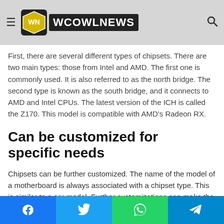WCOWLNEWS — navigation bar with hamburger menu, logo, and search icon
First, there are several different types of chipsets. There are two main types: those from Intel and AMD. The first one is commonly used. It is also referred to as the north bridge. The second type is known as the south bridge, and it connects to AMD and Intel CPUs. The latest version of the ICH is called the Z170. This model is compatible with AMD's Radeon RX.
Can be customized for specific needs
Chipsets can be further customized. The name of the model of a motherboard is always associated with a chipset type. This is similar to a car model. Further customizations can make the chipset more specific to your specific needs. Further, the type of CPU you choose must be compatible with the
Social share buttons: Facebook, Twitter, WhatsApp, Telegram